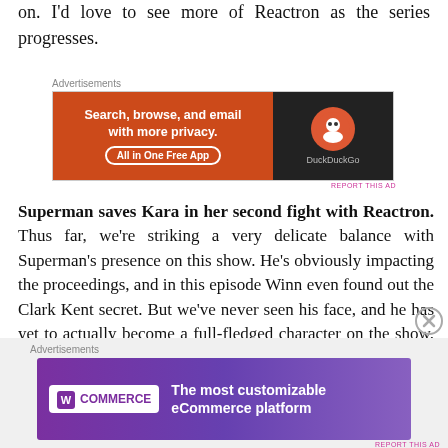on. I'd love to see more of Reactron as the series progresses.
[Figure (screenshot): DuckDuckGo advertisement banner: orange left side with text 'Search, browse, and email with more privacy. All in One Free App' and dark right side with DuckDuckGo logo]
Superman saves Kara in her second fight with Reactron. Thus far, we're striking a very delicate balance with Superman's presence on this show. He's obviously impacting the proceedings, and in this episode Winn even found out the Clark Kent secret. But we've never seen his face, and he has yet to actually become a full-fledged character on the show. So where do you draw the line? He saved Kara in the episode, and
[Figure (screenshot): WooCommerce advertisement banner: purple background with WooCommerce logo on left and text 'The most customizable eCommerce platform' on right]